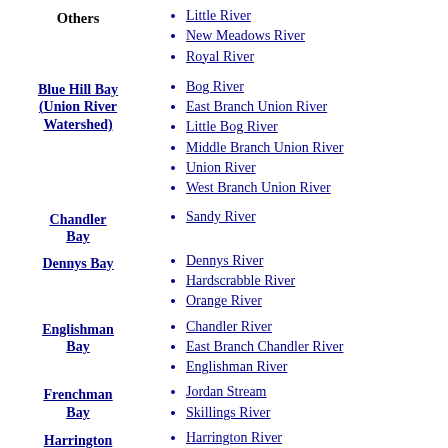Others
Little River
New Meadows River
Royal River
Blue Hill Bay (Union River Watershed)
Bog River
East Branch Union River
Little Bog River
Middle Branch Union River
Union River
West Branch Union River
Chandler Bay
Sandy River
Dennys Bay
Dennys River
Hardscrabble River
Orange River
Englishman Bay
Chandler River
East Branch Chandler River
Englishman River
Frenchman Bay
Jordan Stream
Skillings River
Harrington
Harrington River
Mill River